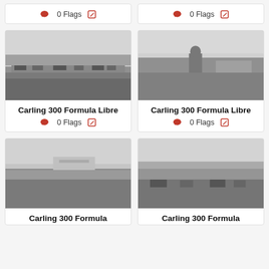[Figure (other): Partial card top-left showing 0 Flags row]
[Figure (other): Partial card top-right showing 0 Flags row]
[Figure (photo): Black and white photo of racing cars on a track with spectators, Carling 300 Formula Libre]
Carling 300 Formula Libre
0 Flags
[Figure (photo): Black and white photo of a person standing on a racing track, Carling 300 Formula Libre]
Carling 300 Formula Libre
0 Flags
[Figure (photo): Black and white photo of racing cars on track, Carling 300 Formula Libre]
Carling 300 Formula
[Figure (photo): Black and white photo of racing cars on track, Carling 300 Formula Libre]
Carling 300 Formula